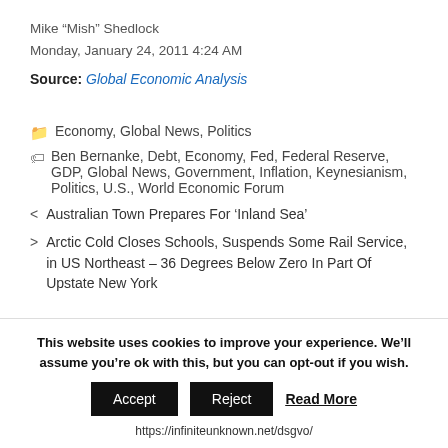Mike “Mish” Shedlock
Monday, January 24, 2011 4:24 AM
Source: Global Economic Analysis
Economy, Global News, Politics
Ben Bernanke, Debt, Economy, Fed, Federal Reserve, GDP, Global News, Government, Inflation, Keynesianism, Politics, U.S., World Economic Forum
Australian Town Prepares For ‘Inland Sea’
Arctic Cold Closes Schools, Suspends Some Rail Service, in US Northeast – 36 Degrees Below Zero In Part Of Upstate New York
This website uses cookies to improve your experience. We’ll assume you’re ok with this, but you can opt-out if you wish.
Accept  Reject  Read More
https://infiniteunknown.net/dsgvo/